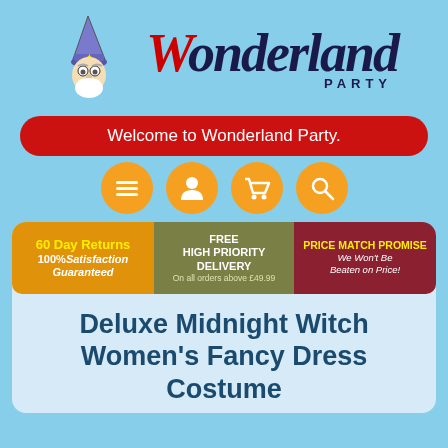[Figure (logo): Wonderland Party logo with wizard character and stylized text]
Welcome to Wonderland Party.
[Figure (infographic): Four orange circular navigation icons: menu, user, cart, search]
[Figure (infographic): Three promotional banners: 60 Day Returns / 100% Satisfaction Guaranteed, FREE HIGH PRIORITY DELIVERY On all orders above £49.99, PRICE MATCH PROMISE We Won't Be Beaten on Price!]
Deluxe Midnight Witch Women's Fancy Dress Costume